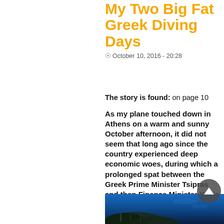My Two Big Fat Greek Diving Days
October 10, 2016 - 20:28
The story is found: on page 10
As my plane touched down in Athens on a warm and sunny October afternoon, it did not seem that long ago since the country experienced deep economic woes, during which a prolonged spat between the Greek Prime Minister Tsipras and then Finance Minister Yanis Varoufakis and the German Chancellor Angela Merkel over the EU bailout dominated the news for weeks on end, painting at times a bleak picture of a nation on the very brink of collapse and si
[Figure (photo): Underwater photograph showing a coral reef or rock formation submerged in deep blue water]